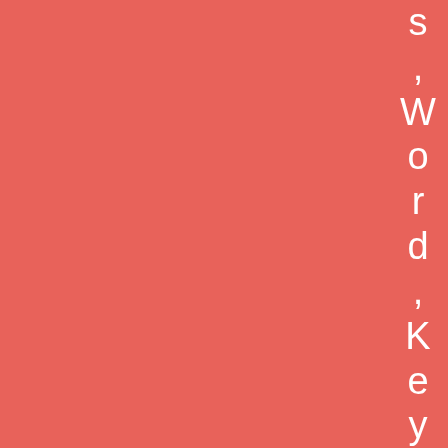[Figure (illustration): Coral/salmon red background with white vertically-arranged text reading 's, Word, Keynot' (partial text visible, reading top to bottom along the right edge of the page)]